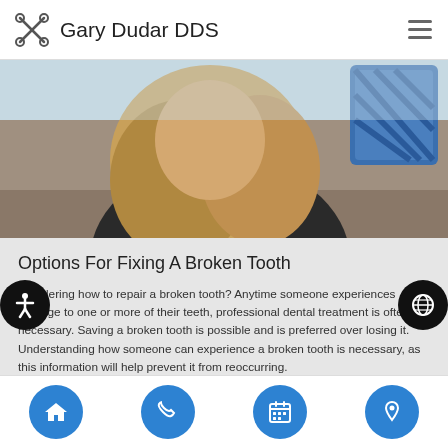Gary Dudar DDS
[Figure (photo): Photo of a woman with long blonde hair, partially visible, with a blue patterned item visible in the upper right corner]
Options For Fixing A Broken Tooth
Wondering how to repair a broken tooth? Anytime someone experiences damage to one or more of their teeth, professional dental treatment is often necessary. Saving a broken tooth is possible and is preferred over losing it. Understanding how someone can experience a broken tooth is necessary, as this information will help prevent it from reoccurring.
Home | Phone | Calendar | Location navigation icons